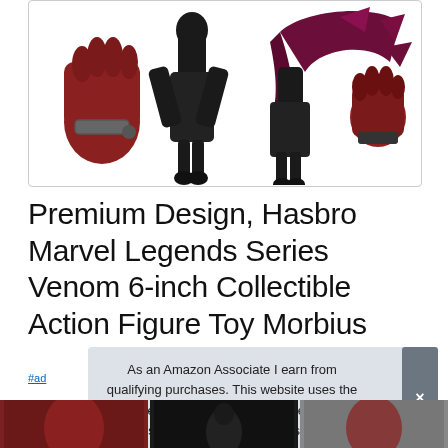[Figure (photo): Product image of Hasbro Marvel Legends Series Venom Morbius action figure and accessories including fists and clawed hands, shown on white background in a bordered box]
Premium Design, Hasbro Marvel Legends Series Venom 6-inch Collectible Action Figure Toy Morbius
#ad
As an Amazon Associate I earn from qualifying purchases. This website uses the only necessary cookies to ensure you get the best experience on our website. More information
[Figure (photo): Three thumbnail images of action figures at the bottom of the page]